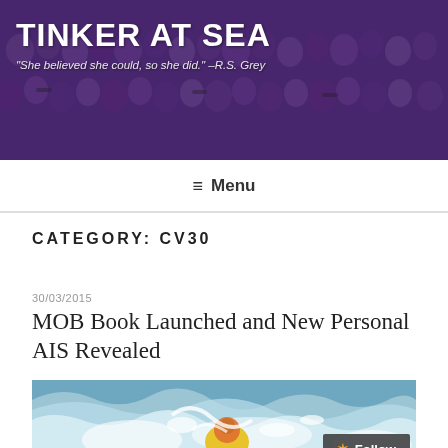[Figure (photo): Banner photo showing a large group of people in purple shirts/uniforms, serving as the website header background for 'Tinker at Sea' blog]
TINKER AT SEA
"She believed she could, so she did." –R.S. Grey
≡ Menu
CATEGORY: CV30
30/03/2015
MOB Book Launched and New Personal AIS Revealed
[Figure (photo): Person in yellow safety gear/life jacket in rough ocean water with white waves]